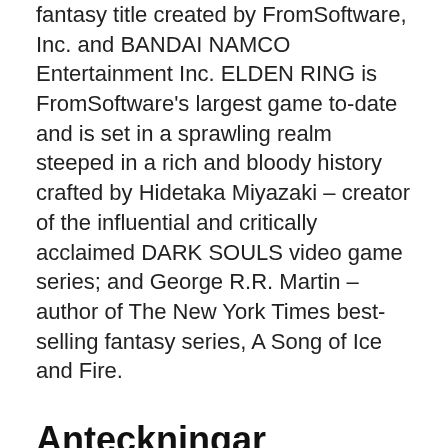fantasy title created by FromSoftware, Inc. and BANDAI NAMCO Entertainment Inc. ELDEN RING is FromSoftware's largest game to-date and is set in a sprawling realm steeped in a rich and bloody history crafted by Hidetaka Miyazaki – creator of the influential and critically acclaimed DARK SOULS video game series; and George R.R. Martin – author of The New York Times best-selling fantasy series, A Song of Ice and Fire.
Anteckningar
ELDEN RING. The largest FromSoftware game to-date, ELDEN RING ushers in a... 361: Mario Rivera: Xbox Series X launch list, PS5 UI, Gamestop, Among Us, 381: Lana Bachynski: Remedy's Vanguard, Elden Ring, New Switch,